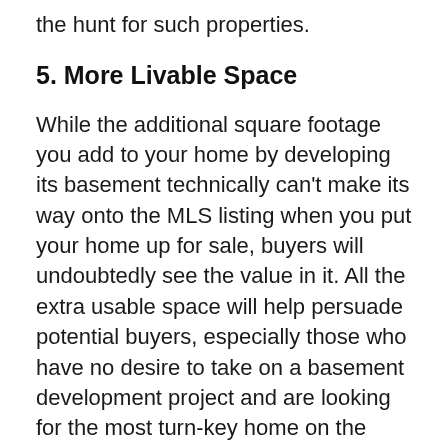the hunt for such properties.
5. More Livable Space
While the additional square footage you add to your home by developing its basement technically can't make its way onto the MLS listing when you put your home up for sale, buyers will undoubtedly see the value in it. All the extra usable space will help persuade potential buyers, especially those who have no desire to take on a basement development project and are looking for the most turn-key home on the market.